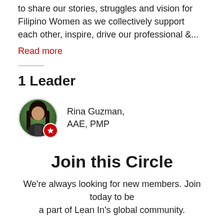to share our stories, struggles and vision for Filipino Women as we collectively support each other, inspire, drive our professional &...
Read more
1 Leader
[Figure (photo): Circular avatar photo of Rina Guzman with a red badge star icon overlay]
Rina Guzman,
AAE, PMP
Join this Circle
We're always looking for new members. Join today to be a part of Lean In's global community.